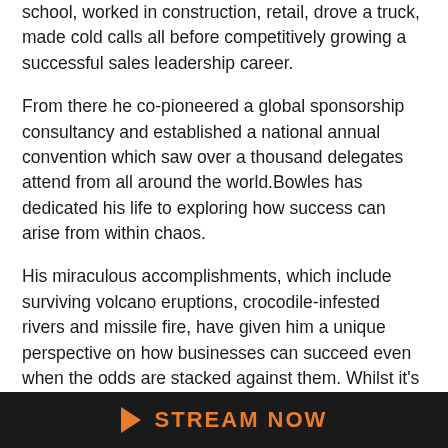school, worked in construction, retail, drove a truck, made cold calls all before competitively growing a successful sales leadership career.
From there he co-pioneered a global sponsorship consultancy and established a national annual convention which saw over a thousand delegates attend from all around the world.Bowles has dedicated his life to exploring how success can arise from within chaos.
His miraculous accomplishments, which include surviving volcano eruptions, crocodile-infested rivers and missile fire, have given him a unique perspective on how businesses can succeed even when the odds are stacked against them. Whilst it's unlikely that your business is facing the threat of molten lava or
STREAM NOW